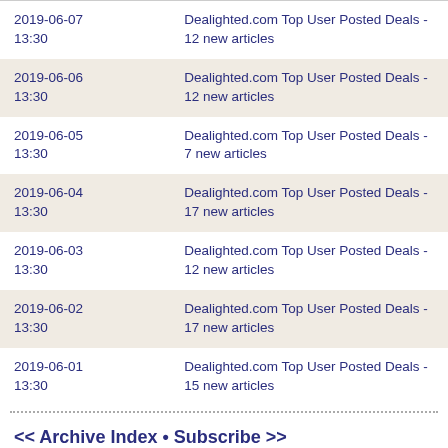| Date | Title |
| --- | --- |
| 2019-06-07 13:30 | Dealighted.com Top User Posted Deals - 12 new articles |
| 2019-06-06 13:30 | Dealighted.com Top User Posted Deals - 12 new articles |
| 2019-06-05 13:30 | Dealighted.com Top User Posted Deals - 7 new articles |
| 2019-06-04 13:30 | Dealighted.com Top User Posted Deals - 17 new articles |
| 2019-06-03 13:30 | Dealighted.com Top User Posted Deals - 12 new articles |
| 2019-06-02 13:30 | Dealighted.com Top User Posted Deals - 17 new articles |
| 2019-06-01 13:30 | Dealighted.com Top User Posted Deals - 15 new articles |
<< Archive Index • Subscribe >>
Subscription preference center
Archive